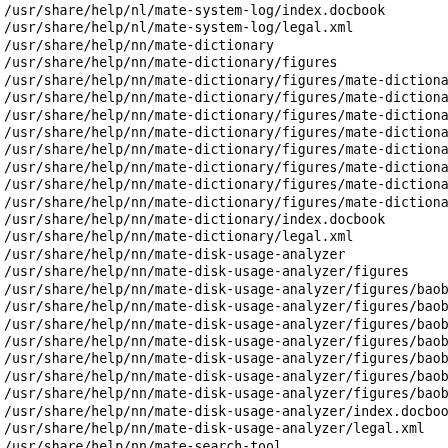/usr/share/help/nl/mate-system-log/index.docbook
/usr/share/help/nl/mate-system-log/legal.xml
/usr/share/help/nn/mate-dictionary
/usr/share/help/nn/mate-dictionary/figures
/usr/share/help/nn/mate-dictionary/figures/mate-dictionar
/usr/share/help/nn/mate-dictionary/figures/mate-dictionar
/usr/share/help/nn/mate-dictionary/figures/mate-dictionar
/usr/share/help/nn/mate-dictionary/figures/mate-dictionar
/usr/share/help/nn/mate-dictionary/figures/mate-dictionar
/usr/share/help/nn/mate-dictionary/figures/mate-dictionar
/usr/share/help/nn/mate-dictionary/figures/mate-dictionar
/usr/share/help/nn/mate-dictionary/figures/mate-dictionar
/usr/share/help/nn/mate-dictionary/index.docbook
/usr/share/help/nn/mate-dictionary/legal.xml
/usr/share/help/nn/mate-disk-usage-analyzer
/usr/share/help/nn/mate-disk-usage-analyzer/figures
/usr/share/help/nn/mate-disk-usage-analyzer/figures/baoba
/usr/share/help/nn/mate-disk-usage-analyzer/figures/baoba
/usr/share/help/nn/mate-disk-usage-analyzer/figures/baoba
/usr/share/help/nn/mate-disk-usage-analyzer/figures/baoba
/usr/share/help/nn/mate-disk-usage-analyzer/figures/baoba
/usr/share/help/nn/mate-disk-usage-analyzer/figures/baoba
/usr/share/help/nn/mate-disk-usage-analyzer/figures/baoba
/usr/share/help/nn/mate-disk-usage-analyzer/index.docbook
/usr/share/help/nn/mate-disk-usage-analyzer/legal.xml
/usr/share/help/nn/mate-search-tool
/usr/share/help/nn/mate-search-tool/figures
/usr/share/help/nn/mate-search-tool/figures/mate-search-t
/usr/share/help/nn/mate-search-tool/index.docbook
/usr/share/help/nn/mate-search-tool/legal.xml